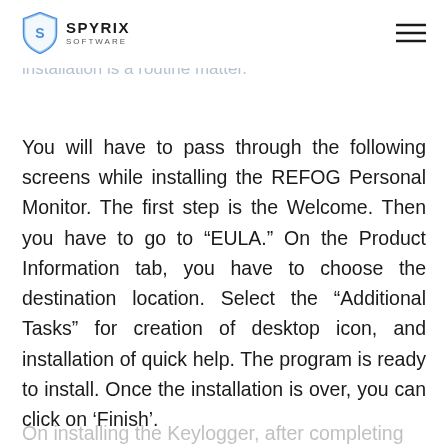Spyrix Software
English languages. This is a good feature of the software. The remaining part of the installation is a routine matter.
You will have to pass through the following screens while installing the REFOG Personal Monitor. The first step is the Welcome. Then you have to go to “EULA.” On the Product Information tab, you have to choose the destination location. Select the “Additional Tasks” for creation of desktop icon, and installation of quick help. The program is ready to install. Once the installation is over, you can click on ‘Finish’.
On installing the Keylogger, after completing...